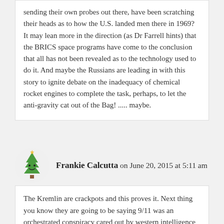sending their own probes out there, have been scratching their heads as to how the U.S. landed men there in 1969? It may lean more in the direction (as Dr Farrell hints) that the BRICS space programs have come to the conclusion that all has not been revealed as to the technology used to do it. And maybe the Russians are leading in with this story to ignite debate on the inadequacy of chemical rocket engines to complete the task, perhaps, to let the anti-gravity cat out of the Bag! ..... maybe.
Frankie Calcutta on June 20, 2015 at 5:11 am
The Kremlin are crackpots and this proves it. Next thing you know they are going to be saying 9/11 was an orchestrated conspiracy cared out by western intelligence services. You just can't believe anything they say. Thankfully the western media is picking up this Moon hoax story and making westerners aware of this kookiness. Hopefully, the late night